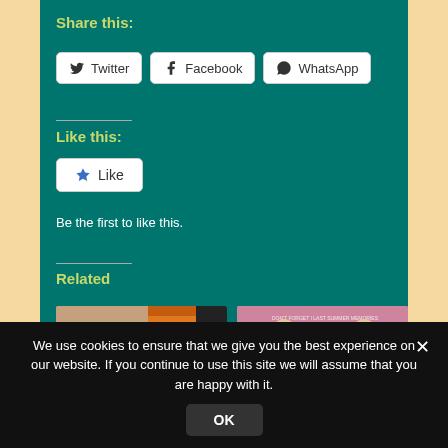Share this:
Twitter
Facebook
WhatsApp
Like this:
Like
Be the first to like this.
Related
[Figure (photo): Two related album/content thumbnail images]
We use cookies to ensure that we give you the best experience on our website. If you continue to use this site we will assume that you are happy with it.
OK